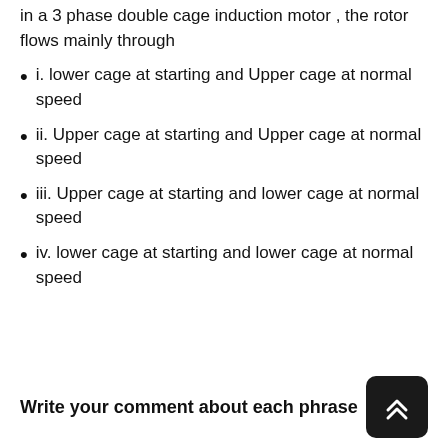in a 3 phase double cage induction motor , the rotor flows mainly through
i. lower cage at starting and Upper cage at normal speed
ii. Upper cage at starting and Upper cage at normal speed
iii. Upper cage at starting and lower cage at normal speed
iv. lower cage at starting and lower cage at normal speed
Write your comment about each phrase